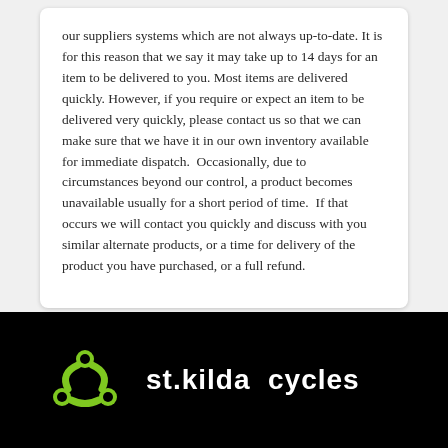our suppliers systems which are not always up-to-date. It is for this reason that we say it may take up to 14 days for an item to be delivered to you. Most items are delivered quickly. However, if you require or expect an item to be delivered very quickly, please contact us so that we can make sure that we have it in our own inventory available for immediate dispatch.  Occasionally, due to circumstances beyond our control, a product becomes unavailable usually for a short period of time.  If that occurs we will contact you quickly and discuss with you similar alternate products, or a time for delivery of the product you have purchased, or a full refund.
[Figure (logo): St. Kilda Cycles logo: a green chain link / gear icon on the left, followed by the text 'st.kilda cycles' in white bold on a black background.]